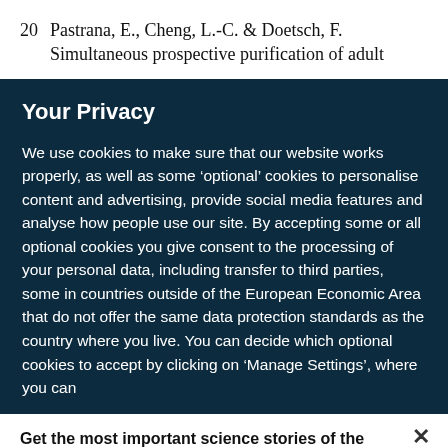20  Pastrana, E., Cheng, L.-C. & Doetsch, F. Simultaneous prospective purification of adult
Your Privacy
We use cookies to make sure that our website works properly, as well as some ‘optional’ cookies to personalise content and advertising, provide social media features and analyse how people use our site. By accepting some or all optional cookies you give consent to the processing of your personal data, including transfer to third parties, some in countries outside of the European Economic Area that do not offer the same data protection standards as the country where you live. You can decide which optional cookies to accept by clicking on ‘Manage Settings’, where you can
Get the most important science stories of the day, free in your inbox.
Sign up for Nature Briefing